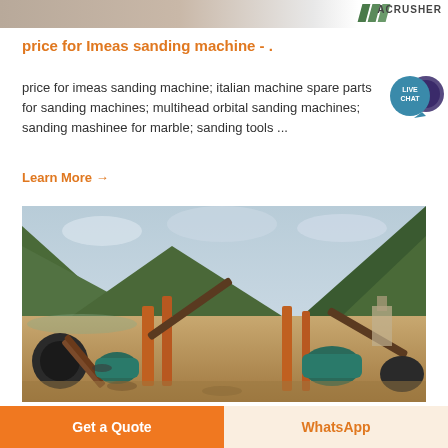[Figure (photo): Top banner image showing machinery/equipment with ACRUSHER logo and green diagonal stripes on right side]
price for Imeas sanding machine - .
price for imeas sanding machine; italian machine spare parts for sanding machines; multihead orbital sanding machines; sanding mashinee for marble; sanding tools ...
Learn More →
[Figure (photo): Industrial mining/crushing plant machinery with conveyor belts, crushers, and motors set against green mountainous landscape with overcast sky]
Get a Quote
WhatsApp